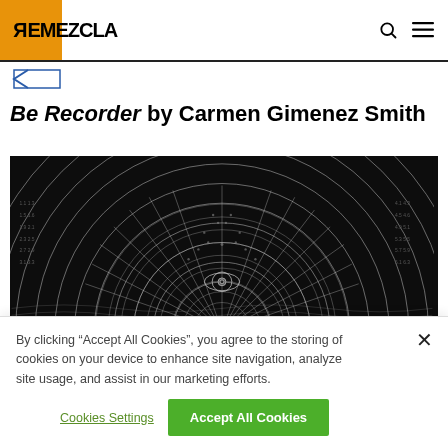REMEZCLA
Be Recorder by Carmen Gimenez Smith
[Figure (illustration): Dark book cover of 'Be Recorder' by Carmen Gimenez Smith, featuring an intricate geometric circular/fan design with concentric arcs, grid lines, and an eye symbol at the center, rendered in white lines on a black background.]
By clicking "Accept All Cookies", you agree to the storing of cookies on your device to enhance site navigation, analyze site usage, and assist in our marketing efforts.